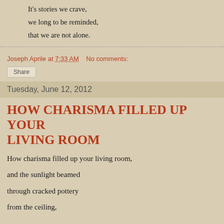It's stories we crave,
we long to be reminded,
that we are not alone.
Joseph Aprile at 7:33 AM   No comments:
Share
Tuesday, June 12, 2012
HOW CHARISMA FILLED UP YOUR LIVING ROOM
How charisma filled up your living room,
and the sunlight beamed
through cracked pottery
from the ceiling,